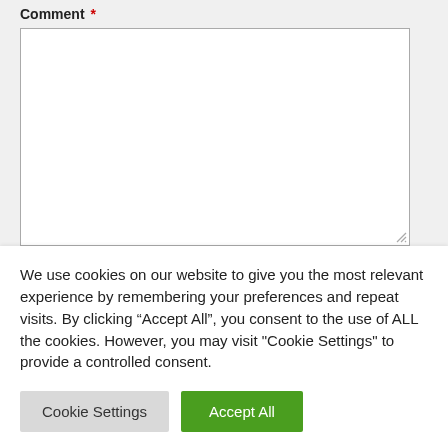Comment *
[Figure (screenshot): Empty comment textarea input box with resize handle in bottom-right corner]
We use cookies on our website to give you the most relevant experience by remembering your preferences and repeat visits. By clicking “Accept All”, you consent to the use of ALL the cookies. However, you may visit "Cookie Settings" to provide a controlled consent.
Cookie Settings
Accept All